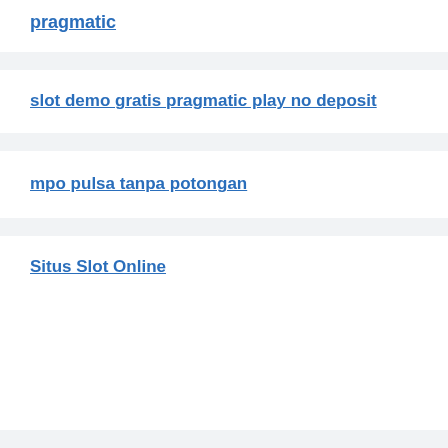pragmatic
slot demo gratis pragmatic play no deposit
mpo pulsa tanpa potongan
Situs Slot Online